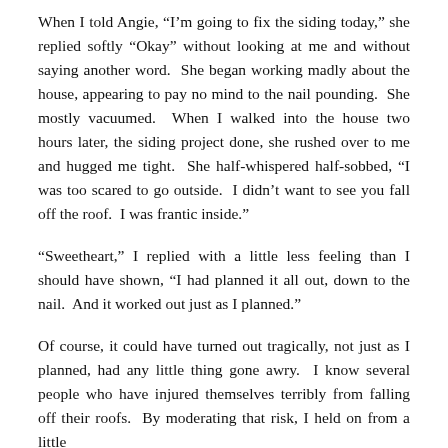When I told Angie, “I’m going to fix the siding today,” she replied softly “Okay” without looking at me and without saying another word.  She began working madly about the house, appearing to pay no mind to the nail pounding.  She mostly vacuumed.  When I walked into the house two hours later, the siding project done, she rushed over to me and hugged me tight.  She half-whispered half-sobbed, “I was too scared to go outside.  I didn’t want to see you fall off the roof.  I was frantic inside.”
“Sweetheart,” I replied with a little less feeling than I should have shown, “I had planned it all out, down to the nail.  And it worked out just as I planned.”
Of course, it could have turned out tragically, not just as I planned, had any little thing gone awry.  I know several people who have injured themselves terribly from falling off their roofs.  By moderating that risk, I held on from a little…